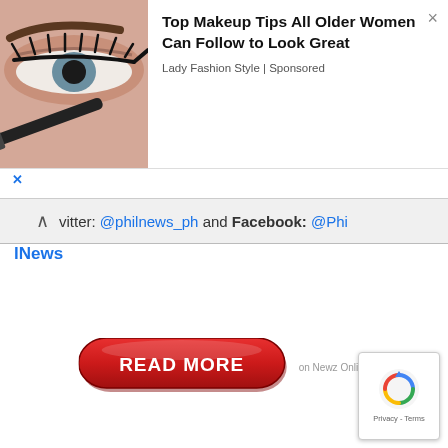[Figure (screenshot): Advertisement banner showing a close-up photo of an eye with eyeliner being applied, alongside ad text 'Top Makeup Tips All Older Women Can Follow to Look Great' from Lady Fashion Style (Sponsored)]
vitter: @philnews_ph and Facebook: @PhilNews
[Figure (infographic): Red rounded rectangle button labeled READ MORE on Newz Online]
[Figure (logo): Google reCAPTCHA badge with Privacy - Terms text]